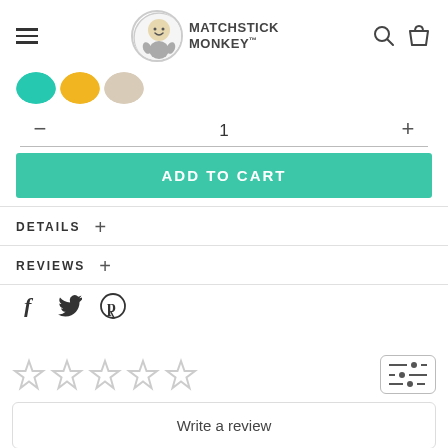[Figure (screenshot): Matchstick Monkey e-commerce product page screenshot showing navigation header with logo, color swatches, quantity selector, add to cart button, details and reviews expandable sections, social sharing icons, star rating row with filter button, and write a review button.]